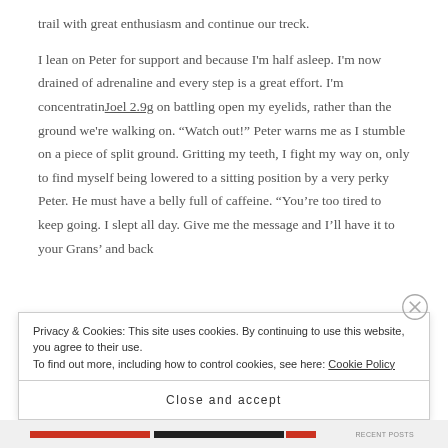trail with great enthusiasm and continue our treck.
I lean on Peter for support and because I'm half asleep. I'm now drained of adrenaline and every step is a great effort. I'm concentratinᴈoel 2.9g on battling open my eyelids, rather than the ground we're walking on. “Watch out!” Peter warns me as I stumble on a piece of split ground. Gritting my teeth, I fight my way on, only to find myself being lowered to a sitting position by a very perky Peter. He must have a belly full of caffeine. “You’re too tired to keep going. I slept all day. Give me the message and I’ll have it to your Grans’ and back
Privacy & Cookies: This site uses cookies. By continuing to use this website, you agree to their use.
To find out more, including how to control cookies, see here: Cookie Policy
Close and accept